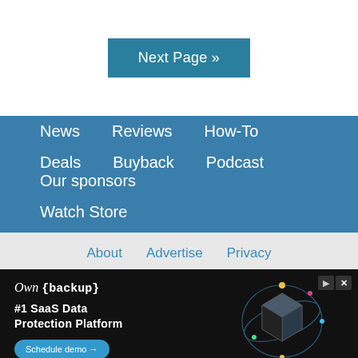Next Page »
News
Reviews
How-To
Deals
Buyback
Podcast
Our sponsors
Watch Store
About   Advertise   Privacy
[Figure (screenshot): Advertisement banner for OwnBackup: #1 SaaS Data Protection Platform with Schedule demo button and 3D hexagon graphic]